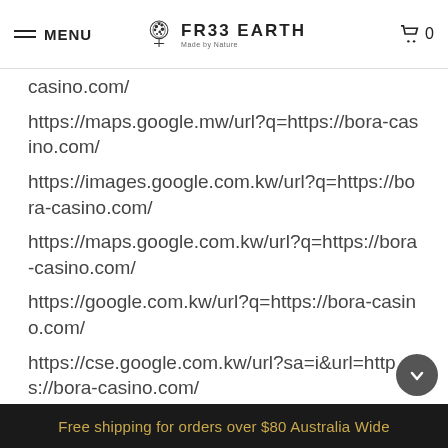MENU | FR33 EARTH | 0
casino.com/
https://maps.google.mw/url?q=https://bora-casino.com/
https://images.google.com.kw/url?q=https://bora-casino.com/
https://maps.google.com.kw/url?q=https://bora-casino.com/
https://google.com.kw/url?q=https://bora-casino.com/
https://cse.google.com.kw/url?sa=i&url=https://bora-casino.com/
https://cse.google.com.lb/url?sa=i&url=https://bora-casino.com/
https://maps.google.com.lb/url?q=https://bora-casino.com/
Free shipping for orders over $80 Australia Wide